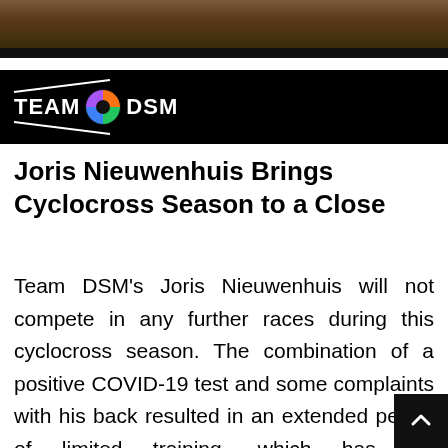[Figure (photo): Top cropped photo strip showing a blurred indoor scene with dark bar at bottom]
[Figure (logo): Team DSM logo on black background with diagonal slash lines, circular multicolor emblem, and white text reading TEAM DSM]
Joris Nieuwenhuis Brings Cyclocross Season to a Close
Team DSM's Joris Nieuwenhuis will not compete in any further races during this cyclocross season. The combination of a positive COVID-19 test and some complaints with his back resulted in an extended period of limited training, which has set Nieuwenhuis back in form from his big season goals in the early part of the new year. While things are heading in the right direction, both Joris an